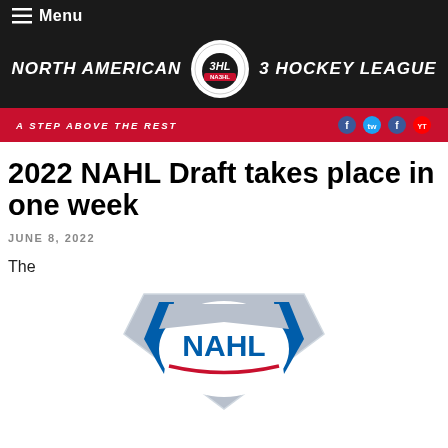Menu
[Figure (logo): North American 3 Hockey League (NA3HL) header with logo circle and text: NORTH AMERICAN 3 HOCKEY LEAGUE]
A STEP ABOVE THE REST
2022 NAHL Draft takes place in one week
JUNE 8, 2022
The
[Figure (logo): NAHL shield logo — silver and blue shield with NAHL text in bold blue letters and red swoosh]